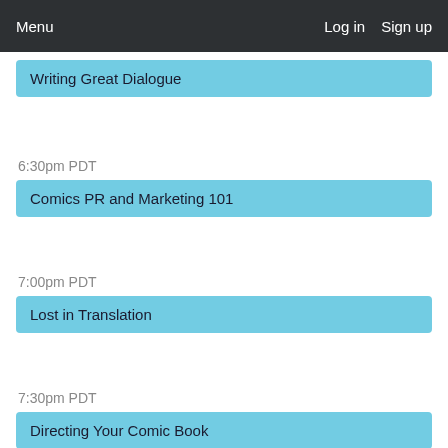Menu   Log in   Sign up
Writing Great Dialogue
6:30pm PDT
Comics PR and Marketing 101
7:00pm PDT
Lost in Translation
7:30pm PDT
Directing Your Comic Book